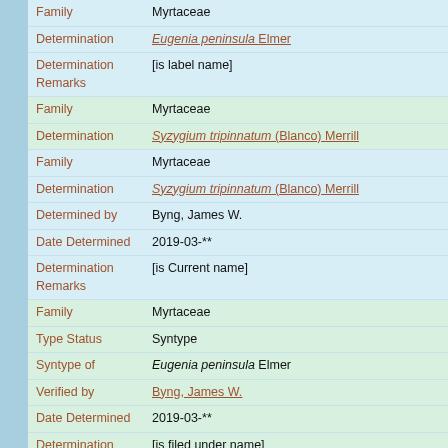| Field | Value |
| --- | --- |
| Family | Myrtaceae |
| Determination | Eugenia peninsula Elmer |
| Determination Remarks | [is label name] |
| Family | Myrtaceae |
| Determination | Syzygium tripinnatum (Blanco) Merrill |
| Family | Myrtaceae |
| Determination | Syzygium tripinnatum (Blanco) Merrill |
| Determined by | Byng, James W. |
| Date Determined | 2019-03-** |
| Determination Remarks | [is Current name] |
| Family | Myrtaceae |
| Type Status | Syntype |
| Syntype of | Eugenia peninsula Elmer |
| Verified by | Byng, James W. |
| Date Determined | 2019-03-** |
| Determination Remarks | [is filed under name] |